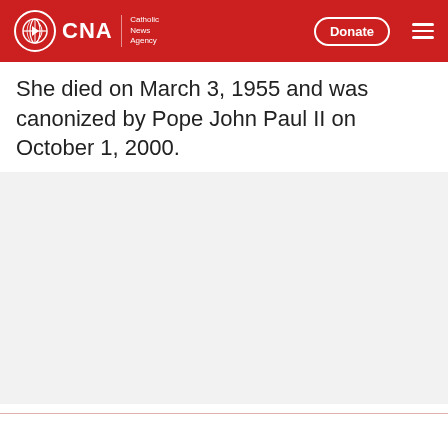CNA | Catholic News Agency | Donate
She died on March 3, 1955 and was canonized by Pope John Paul II on October 1, 2000.